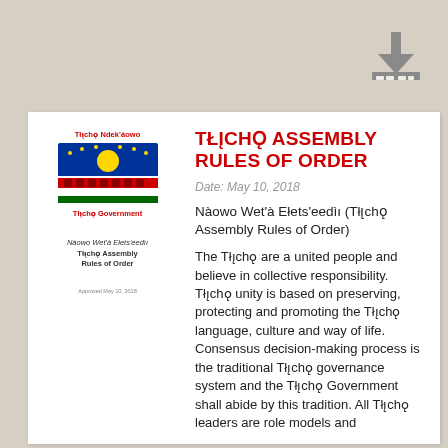[Figure (illustration): Download icon (arrow pointing down to a tray) in grey]
[Figure (logo): Tłı̨chǫ Government logo with flag imagery and text 'Tłı̨chǫ Ndek'àowo' above and 'Tłı̨chǫ Government' below]
Nàowo Wet'à Ełets'eedìı
Tłı̨chǫ Assembly
Rules of Order
Approved May 10, 2018
TŁĮCHǪ ASSEMBLY RULES OF ORDER
Date: May 10, 2018
Nàowo Wet'à Ełets'eedìı (Tłı̨chǫ Assembly Rules of Order)
The Tłı̨chǫ are a united people and believe in collective responsibility. Tłı̨chǫ unity is based on preserving, protecting and promoting the Tłı̨chǫ language, culture and way of life. Consensus decision-making process is the traditional Tłı̨chǫ governance system and the Tłı̨chǫ Government shall abide by this tradition. All Tłı̨chǫ leaders are role models and